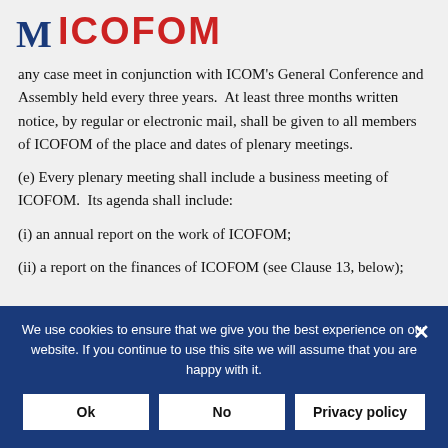M ICOFOM
any case meet in conjunction with ICOM's General Conference and Assembly held every three years.  At least three months written notice, by regular or electronic mail, shall be given to all members of ICOFOM of the place and dates of plenary meetings.
(e) Every plenary meeting shall include a business meeting of ICOFOM.  Its agenda shall include:
(i) an annual report on the work of ICOFOM;
(ii) a report on the finances of ICOFOM (see Clause 13, below);
We use cookies to ensure that we give you the best experience on our website. If you continue to use this site we will assume that you are happy with it.